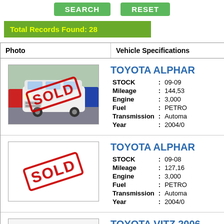SEARCH  RESET
Total Records Found: 28
| Photo | Vehicle Specifications |
| --- | --- |
| [Photo: Toyota Alphard - SOLD] | TOYOTA ALPHARD
STOCK : 09-09
Mileage : 144,53
Engine : 3,000
Fuel : PETRO
Transmission : Automa
Year : 2004/0 |
| [SOLD stamp] | TOYOTA ALPHARD
STOCK : 09-08
Mileage : 127,16
Engine : 3,000
Fuel : PETRO
Transmission : Automa
Year : 2004/0 |
| [Photo placeholder] | TOYOTA VITZ 2006
STOCK : 09-07 |